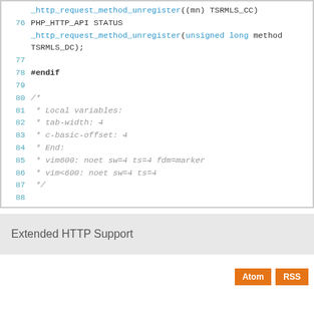[Figure (screenshot): Code block showing C source lines 76-88 with line numbers, identifiers in blue/teal, and comments in gray italic monospace font.]
Extended HTTP Support
Atom  RSS